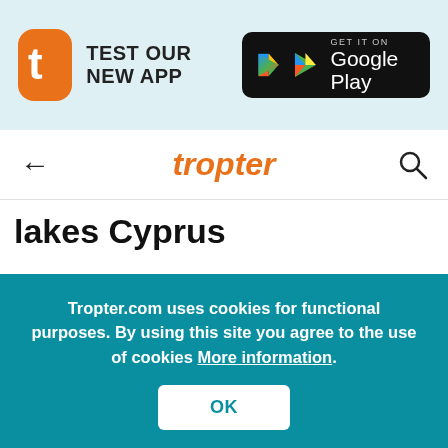[Figure (screenshot): Top banner with Tropter app icon (orange rounded square with white 't'), text 'TEST OUR NEW APP', and Google Play download button on light blue background]
tropter
lakes Cyprus
[Figure (other): Gray placeholder card with bookmark icon in top-right corner]
Tropter.com uses cookies for functional purposes. By using this site you agree to the use of cookies More information.
OK